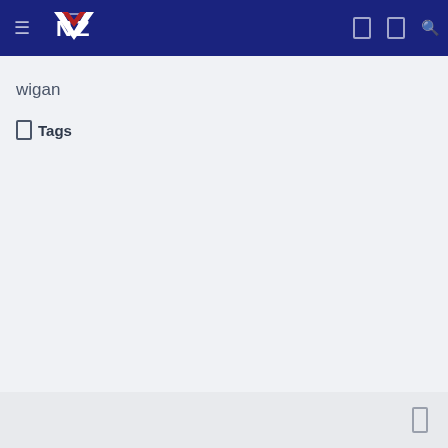Navigation bar with NZ logo and icons
wigan
Tags